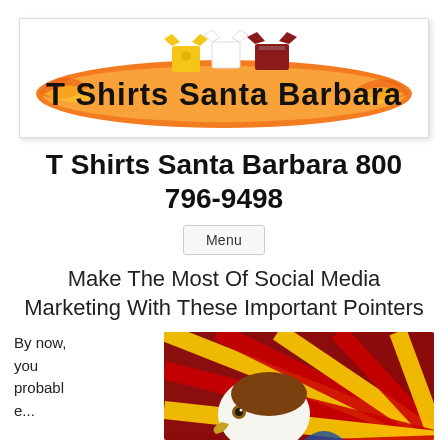[Figure (logo): T Shirts Santa Barbara logo — orange surfboard shape with three t-shirts on top and bold black text reading 'T Shirts Santa Barbara' on the surfboard]
T Shirts Santa Barbara 800 796-9498
Menu
Make The Most Of Social Media Marketing With These Important Pointers
By now, you probabl...
[Figure (photo): Photo of a bald eagle with red and yellow sunburst/starburst pattern background]